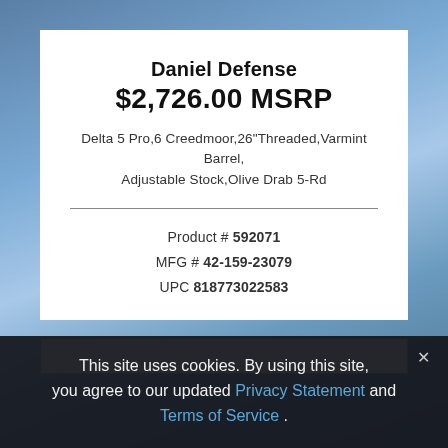Daniel Defense
$2,726.00 MSRP
Delta 5 Pro,6 Creedmoor,26" Threaded,Varmint Barrel, Adjustable Stock,Olive Drab 5-Rd
Product # 592071
MFG # 42-159-23079
UPC 818773022583
This site uses cookies. By using this site, you agree to our updated Privacy Statement and Terms of Service .